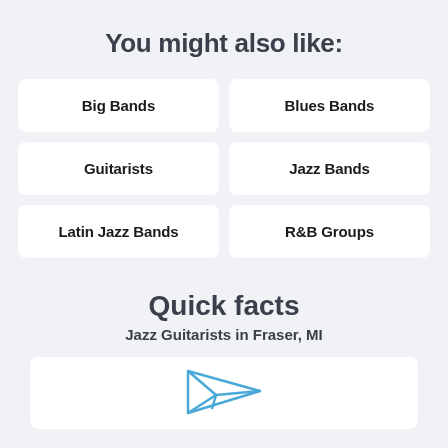You might also like:
Big Bands
Blues Bands
Guitarists
Jazz Bands
Latin Jazz Bands
R&B Groups
Quick facts
Jazz Guitarists in Fraser, MI
[Figure (illustration): Paper airplane / send icon in blue outline style]